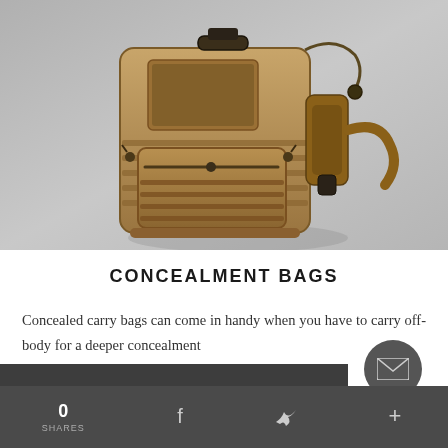[Figure (photo): A tan/coyote brown tactical MOLLE sling bag / concealment backpack with multiple zippered compartments, webbing straps, and a sling harness, photographed against a gray textured background.]
CONCEALMENT BAGS
Concealed carry bags can come in handy when you have to carry off-body for a deeper concealment. A proper holster compartment fitted CC bag is...
0 SHARES  f  (twitter)  +